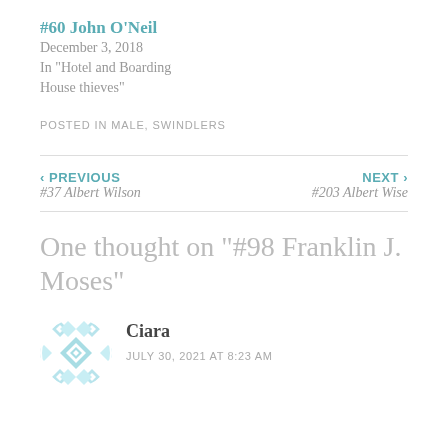#60 John O'Neil
December 3, 2018
In "Hotel and Boarding House thieves"
POSTED IN MALE, SWINDLERS
‹ PREVIOUS
#37 Albert Wilson
NEXT ›
#203 Albert Wise
One thought on "#98 Franklin J. Moses"
Ciara
JULY 30, 2021 AT 8:23 AM